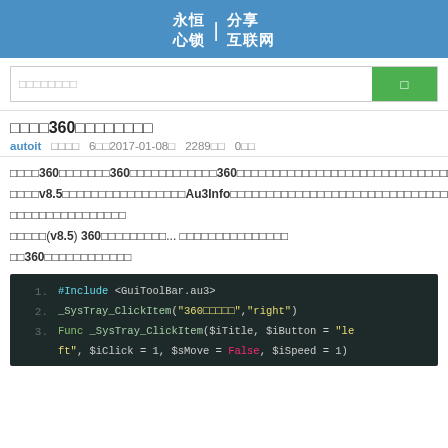永恒心锁 | 分享互联网
□□□□360□□□□□□□□
autoit  □□□□  6□□2017-01-08□  2289□□  0□□
□□□□360□□□□□□□360□□□□□□□□□□360□□□□□□□□□□□□□□□□□□□□□□□□□□□□□v8.5□□□□□□□□□□□□□□□□□Au3Info□□□□□□□□□□□□□□□□□□□□□□□□□□□□□□□□□□□□□□□□□□□□□□(v8.5) 360□□□□□□□□□... □□□□□□□□□□□□□□□□360□□□□□□□□□□□□
[Figure (screenshot): Code block showing AutoIt script: #Include <GuiToolBar.au3>, _SysTray_ClickItem("360□□□□□","right"), Func _SysTray_ClickItem($iTitle, $iButton = "left", $iClick = 1, $sMove = False, $iSpeed = 1)]